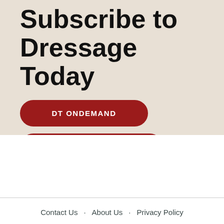Subscribe to Dressage Today
DT ONDEMAND
FREE NEWSLETTER
Contact Us · About Us · Privacy Policy